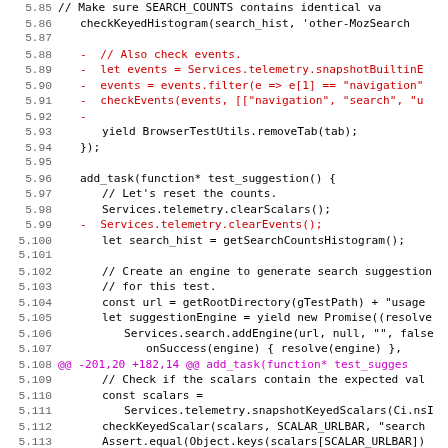[Figure (screenshot): Source code diff view showing JavaScript/Mozilla test code with line numbers 5.85 through 5.117. Lines in red are deletions. Line 5.108 shows a diff hunk header in magenta. Code includes telemetry, browser test utilities, and search engine functions.]